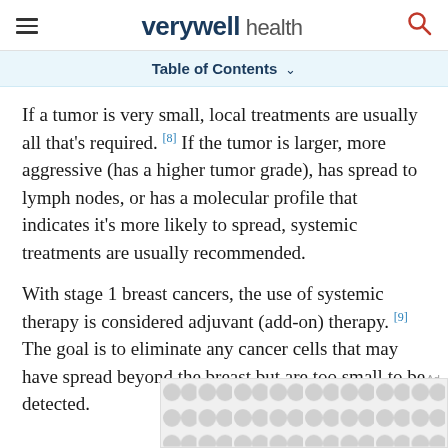verywell health
Table of Contents
If a tumor is very small, local treatments are usually all that's required.[8] If the tumor is larger, more aggressive (has a higher tumor grade), has spread to lymph nodes, or has a molecular profile that indicates it's more likely to spread, systemic treatments are usually recommended.
With stage 1 breast cancers, the use of systemic therapy is considered adjuvant (add-on) therapy.[9] The goal is to eliminate any cancer cells that may have spread beyond the breast but are too small to be detected.
[Figure (other): Advertisement placeholder with circular dot pattern]